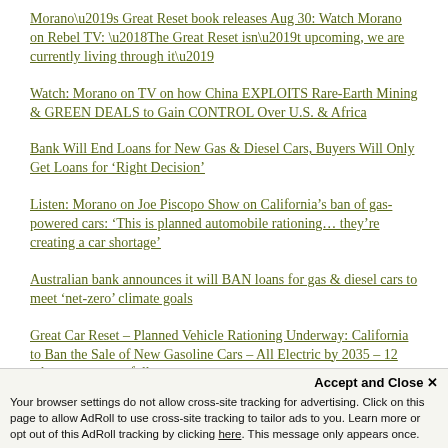Morano’s Great Reset book releases Aug 30: Watch Morano on Rebel TV: ‘The Great Reset isn’t upcoming, we are currently living through it’
Watch: Morano on TV on how China EXPLOITS Rare-Earth Mining & GREEN DEALS to Gain CONTROL Over U.S. & Africa
Bank Will End Loans for New Gas & Diesel Cars, Buyers Will Only Get Loans for ‘Right Decision’
Listen: Morano on Joe Piscopo Show on California’s ban of gas-powered cars: ‘This is planned automobile rationing… they’re creating a car shortage’
Australian bank announces it will BAN loans for gas & diesel cars to meet ‘net-zero’ climate goals
Great Car Reset – Planned Vehicle Rationing Underway: California to Ban the Sale of New Gasoline Cars – All Electric by 2035 – 12 other states set to follow
BBC warns: Prepare for ‘climate endgame’ – ‘More studies needed on possibility of human extinction’ due to ‘climate change’
Accept and Close × Your browser settings do not allow cross-site tracking for advertising. Click on this page to allow AdRoll to use cross-site tracking to tailor ads to you. Learn more or opt out of this AdRoll tracking by clicking here. This message only appears once.